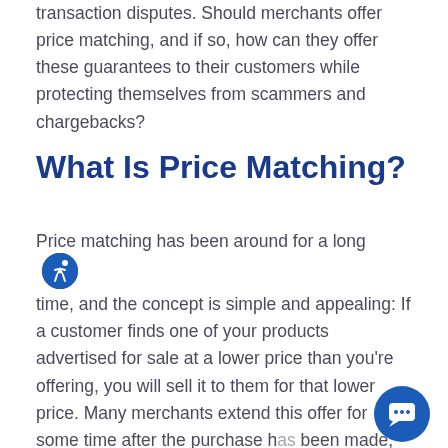transaction disputes. Should merchants offer price matching, and if so, how can they offer these guarantees to their customers while protecting themselves from scammers and chargebacks?
What Is Price Matching?
Price matching has been around for a long time, and the concept is simple and appealing: If a customer finds one of your products advertised for sale at a lower price than you're offering, you will sell it to them for that lower price. Many merchants extend this offer for some time after the purchase has been made, and will refund the difference the customer finds a lower price after the